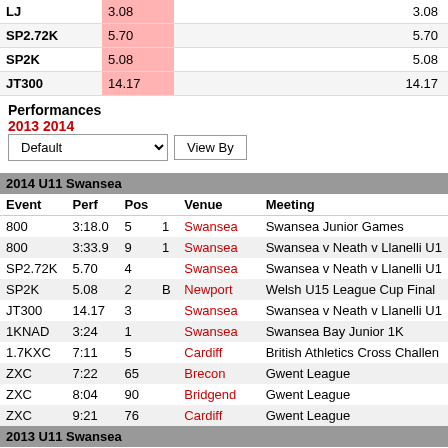| Event | Perf |  |  | Venue | Meeting |
| --- | --- | --- | --- | --- | --- |
| LJ | 3.08 |  |  |  | 3.08 |
| SP2.72K | 5.70 |  |  | 5.70 |  |
| SP2K | 5.08 |  |  | 5.08 |  |
| JT300 | 14.17 |  |  | 14.17 |  |
Performances
2013 2014
| Event | Perf | Pos |  | Venue | Meeting |
| --- | --- | --- | --- | --- | --- |
| 2014 U11 Swansea |
| 800 | 3:18.0 | 5 | 1 | Swansea | Swansea Junior Games |
| 800 | 3:33.9 | 9 | 1 | Swansea | Swansea v Neath v Llanelli U1 |
| SP2.72K | 5.70 | 4 |  | Swansea | Swansea v Neath v Llanelli U1 |
| SP2K | 5.08 | 2 | B | Newport | Welsh U15 League Cup Final |
| JT300 | 14.17 | 3 |  | Swansea | Swansea v Neath v Llanelli U1 |
| 1KNAD | 3:24 | 1 |  | Swansea | Swansea Bay Junior 1K |
| 1.7KXC | 7:11 | 5 |  | Cardiff | British Athletics Cross Challen |
| ZXC | 7:22 | 65 |  | Brecon | Gwent League |
| ZXC | 8:04 | 90 |  | Bridgend | Gwent League |
| ZXC | 9:21 | 76 |  | Cardiff | Gwent League |
| 2013 U11 Swansea |
| Event | Perf | Pos |  | Venue | Meeting |
| 75 | 12.2 | 6 |  | Carmarthen | Carmarthen Open |